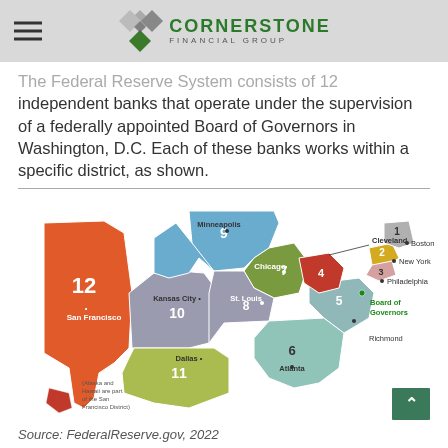Cornerstone Financial Group
The Federal Reserve System consists of 12 independent banks that operate under the supervision of a federally appointed Board of Governors in Washington, D.C. Each of these banks works within a specific district, as shown.
[Figure (map): Map of the 12 Federal Reserve Districts in the United States. District 1: Boston, District 2: New York, District 3: Philadelphia, District 4: Cleveland, District 5: Richmond, District 6: Atlanta, District 7: Chicago, District 8: St. Louis, District 9: Minneapolis, District 10: Kansas City, District 11: Dallas, District 12: San Francisco. Board of Governors noted in Washington D.C. area. Note: Alaska and Hawaii are part of the San Francisco District.]
Source: FederalReserve.gov, 2022